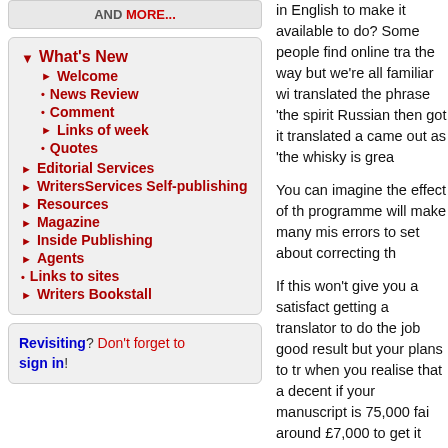AND MORE...
What's New
Welcome
News Review
Comment
Links of week
Quotes
Editorial Services
WritersServices Self-publishing
Resources
Magazine
Inside Publishing
Agents
Links to sites
Writers Bookstall
Revisiting? Don't forget to sign in!
in English to make it available to do? Some people find online tra the way but we're all familiar wi translated the phrase 'the spirit Russian then got it translated a came out as 'the whisky is grea
You can imagine the effect of th programme will make many mis errors to set about correcting th
If this won't give you a satisfact getting a translator to do the jo good result but your plans to tr when you realise that a decent if your manuscript is 75,000 fai around £7,000 to get it translate doing translation piecework, rat cost more.
So, if your English is good er or translating your book into translation polished and copy a native English speaker? Th manuscript at a relatively low changes it might need a qui